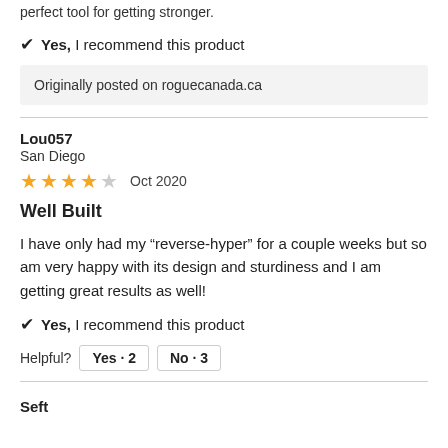perfect tool for getting stronger.
✔ Yes, I recommend this product
Originally posted on roguecanada.ca
Lou057
San Diego
★★★★☆ Oct 2020
Well Built
I have only had my “reverse-hyper” for a couple weeks but so am very happy with its design and sturdiness and I am getting great results as well!
✔ Yes, I recommend this product
Helpful? Yes · 2   No · 3
Seft